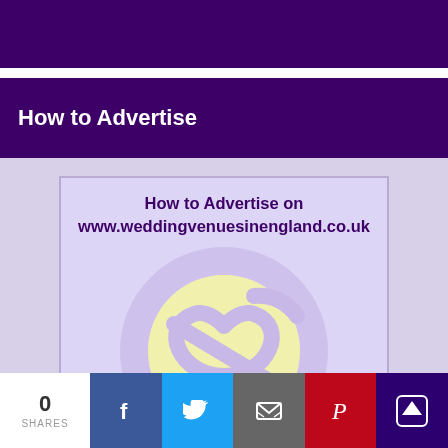How to Advertise
[Figure (illustration): Advertisement image for weddingvenuesinengland.co.uk showing text 'How to Advertise on www.weddingvenuesinengland.co.uk' with a stylized purple heart/infinity logo on a lavender background]
CLICK FOR MORE DETAILS
0 SHARES | Facebook | Twitter | Email | Pinterest | Up